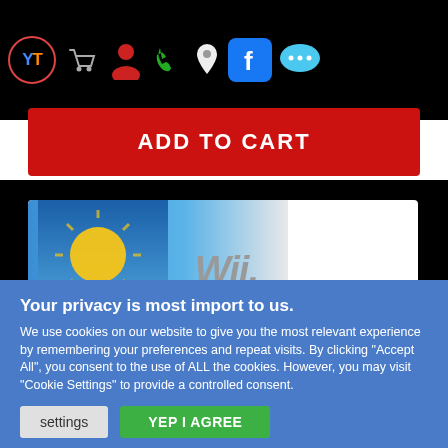[Figure (screenshot): Website navigation bar with icons: YT logo, shopping cart, user/account, phone, location pin, Facebook, chat bubble. All on black background.]
[Figure (screenshot): Red 'ADD TO CART' button bar on black background.]
[Figure (screenshot): Partial product image showing a Wii game box with blue background and sun graphic, with 'Wii' text logo on white background.]
Your privacy is most import to us.
We use cookies on our website to give you the most relevant experience by remembering your preferences and repeat visits. By clicking "Accept All", you consent to the use of ALL the cookies. However, you may visit "Cookie Settings" to provide a controlled consent.
[Figure (screenshot): Two buttons: 'settings' (gray) and 'YEP I AGREE' (green) for cookie consent.]